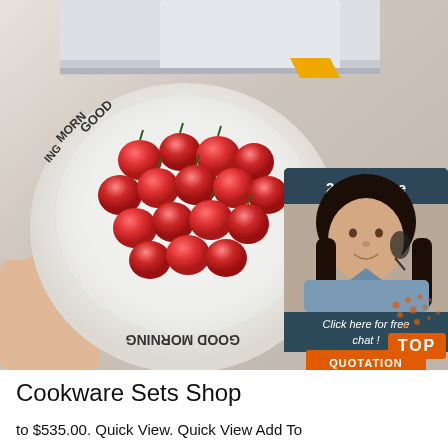[Figure (photo): Product photo showing a kitchen food wrap dispenser device at top, and a white ceramic plate covered in plastic wrap holding red cherry tomatoes with 'GOOD MORNING' text on the plate rim, with an inset customer service chat widget showing a headset-wearing female agent, '24/7 Online' header, 'Click here for free chat!' text, and an orange 'QUOTATION' button. A 'TOP' navigation button appears at bottom right of the image area.]
Cookware Sets Shop
to $535.00. Quick View. Quick View Add To